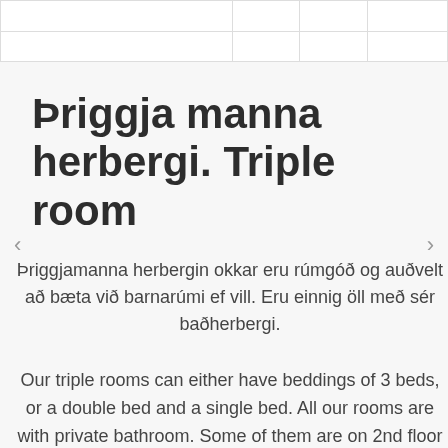|  |  |  |  |
|  |  |  |  |
Þriggja manna herbergi. Triple room
Þriggjamanna herbergin okkar eru rúmgóð og auðvelt að bæta við barnarúmi ef vill. Eru einnig öll með sér baðherbergi.
Our triple rooms can either have beddings of 3 beds, or a double bed and a single bed. All our rooms are with private bathroom. Some of them are on 2nd floor and can only be accessible by stair, while others are on ground floor